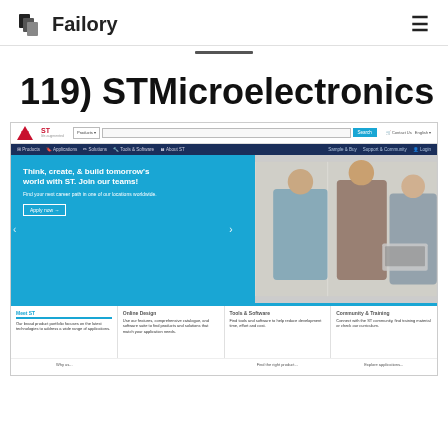Failory
119) STMicroelectronics
[Figure (screenshot): Screenshot of STMicroelectronics website (st.com) showing the navigation bar with Products, Applications, Solutions, Tools & Software, About ST links, a hero banner with 'Think, create, & build tomorrow's world with ST. Join our teams! Find your next career path in one of our locations worldwide.' and an Apply now button, and bottom info panels for Meet ST, Online Design, Tools & Software, and Community & Training.]